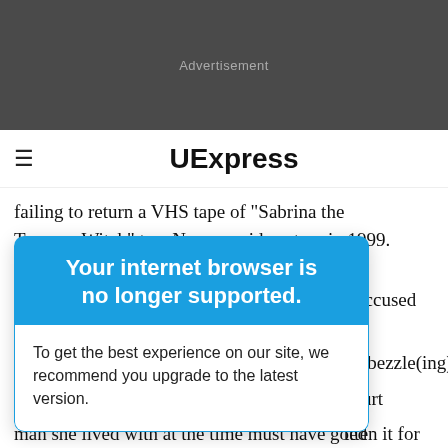[Figure (other): Dark gray advertisement banner placeholder]
UExpress
failing to return a VHS tape of "Sabrina the Teenage Witch" to a Norman video store in 1999. "I thought, this
Your internet browser is no longer supported.

To get the best experience on our site, we recommend you upgrade to the latest version.
s accused her embezzle(ing)" court ted McBride guessed the man she lived with at the time must have gotten it for